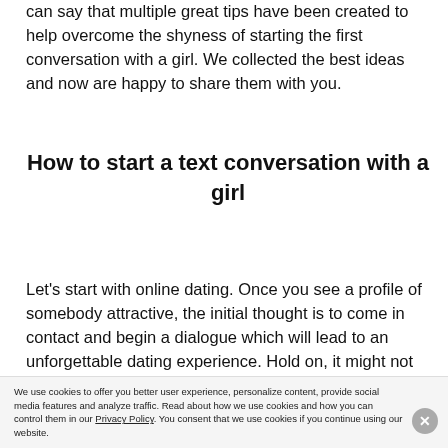can say that multiple great tips have been created to help overcome the shyness of starting the first conversation with a girl. We collected the best ideas and now are happy to share them with you.
How to start a text conversation with a girl
Let's start with online dating. Once you see a profile of somebody attractive, the initial thought is to come in contact and begin a dialogue which will lead to an unforgettable dating experience. Hold on, it might not be as simple as it seems.
We use cookies to offer you better user experience, personalize content, provide social media features and analyze traffic. Read about how we use cookies and how you can control them in our Privacy Policy. You consent that we use cookies if you continue using our website.